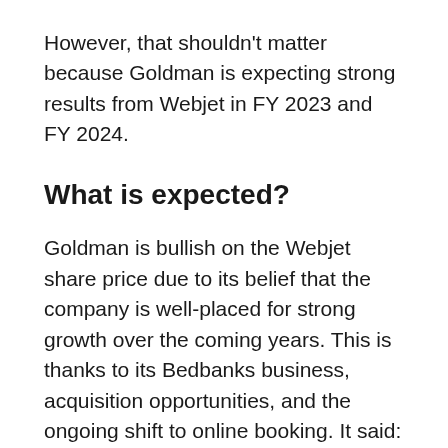However, that shouldn't matter because Goldman is expecting strong results from Webjet in FY 2023 and FY 2024.
What is expected?
Goldman is bullish on the Webjet share price due to its belief that the company is well-placed for strong growth over the coming years. This is thanks to its Bedbanks business, acquisition opportunities, and the ongoing shift to online booking. It said:
We reiterate our Buy on the WEB share price...